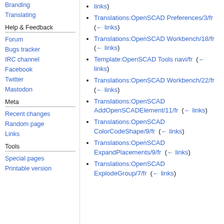Branding
Translating
Help & Feedback
Forum
Bugs tracker
IRC channel
Facebook
Twitter
Mastodon
Meta
Recent changes
Random page
Links
Tools
Special pages
Printable version
links)
Translations:OpenSCAD Preferences/3/fr  (← links)
Translations:OpenSCAD Workbench/18/fr  (← links)
Template:OpenSCAD Tools navi/fr  (← links)
Translations:OpenSCAD Workbench/22/fr  (← links)
Translations:OpenSCAD AddOpenSCADElement/11/fr  (← links)
Translations:OpenSCAD ColorCodeShape/9/fr  (← links)
Translations:OpenSCAD ExpandPlacements/9/fr  (← links)
Translations:OpenSCAD ExplodeGroup/7/fr  (← links)